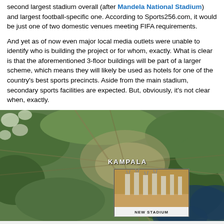second largest stadium overall (after Mandela National Stadium) and largest football-specific one. According to Sports256.com, it would be just one of two domestic venues meeting FIFA requirements.
And yet as of now even major local media outlets were unable to identify who is building the project or for whom, exactly. What is clear is that the aforementioned 3-floor buildings will be part of a larger scheme, which means they will likely be used as hotels for one of the country's best sports precincts. Aside from the main stadium, secondary sports facilities are expected. But, obviously, it's not clear when, exactly.
[Figure (map): Satellite/aerial map view showing Kampala, Uganda, with a label 'KAMPALA' in white text near the city center. An inset photo in the lower-left area shows construction pillars with a label 'NEW STADIUM' partially visible at the bottom.]
We use cookies. Read more. OK